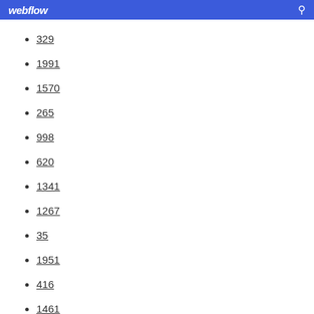webflow
329
1991
1570
265
998
620
1341
1267
35
1951
416
1461
764